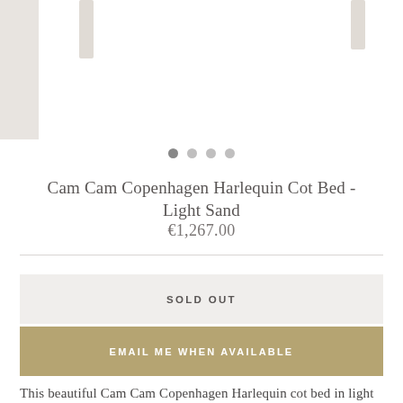[Figure (photo): Product image carousel showing Cam Cam Copenhagen Harlequin Cot Bed in light sand, with navigation dots below]
Cam Cam Copenhagen Harlequin Cot Bed - Light Sand
€1,267.00
SOLD OUT
EMAIL ME WHEN AVAILABLE
This beautiful Cam Cam Copenhagen Harlequin cot bed in light sand comes in their traditional Harlequin pattern and matches in beautifully with the rest of the range our as a standalone piece.